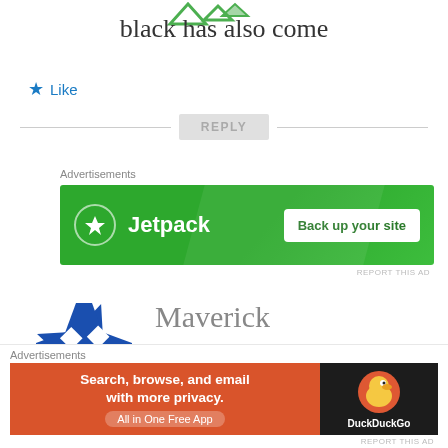[Figure (illustration): Green decorative icon/logo at top center, partial view]
black has also come
★ Like
REPLY
Advertisements
[Figure (screenshot): Jetpack advertisement banner - green background with Jetpack logo and 'Back up your site' button]
REPORT THIS AD
[Figure (illustration): Blue ninja star / shuriken avatar for commenter Maverick]
Maverick
JUNE 3, 2014 AT 5:23 PM
Th... (partial comment text cut off)
Advertisements
[Figure (screenshot): DuckDuckGo advertisement - orange background with text 'Search, browse, and email with more privacy. All in One Free App' and DuckDuckGo logo on dark right panel]
REPORT THIS AD